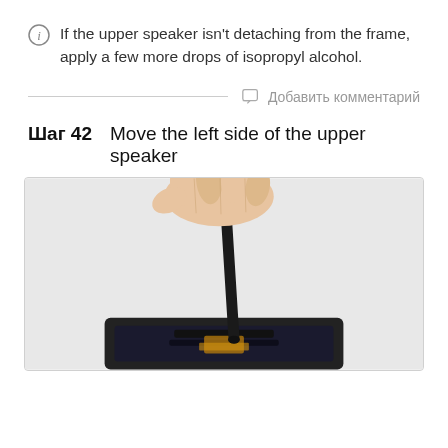If the upper speaker isn't detaching from the frame, apply a few more drops of isopropyl alcohol.
Добавить комментарий
Шаг 42    Move the left side of the upper speaker
[Figure (photo): A hand holding a black spudger tool being used to pry the upper speaker component from a smartphone frame. The tool is angled diagonally and pressing against the speaker assembly.]